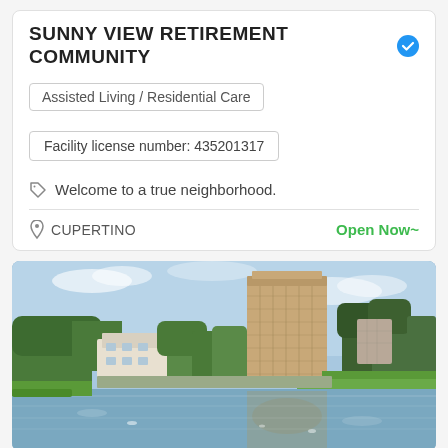SUNNY VIEW RETIREMENT COMMUNITY
Assisted Living / Residential Care
Facility license number: 435201317
Welcome to a true neighborhood.
CUPERTINO
Open Now~
[Figure (photo): Outdoor photo showing a large multi-story residential building reflected in a lake, with trees and greenery, under a blue sky with light clouds.]